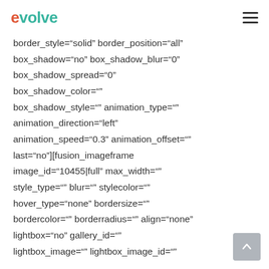evolve
border_style="solid" border_position="all"
box_shadow="no" box_shadow_blur="0"
box_shadow_spread="0"
box_shadow_color=""
box_shadow_style="" animation_type=""
animation_direction="left"
animation_speed="0.3" animation_offset=""
last="no"][fusion_imageframe
image_id="10455|full" max_width=""
style_type="" blur="" stylecolor=""
hover_type="none" bordersize=""
bordercolor="" borderradius="" align="none"
lightbox="no" gallery_id=""
lightbox_image="" lightbox_image_id=""